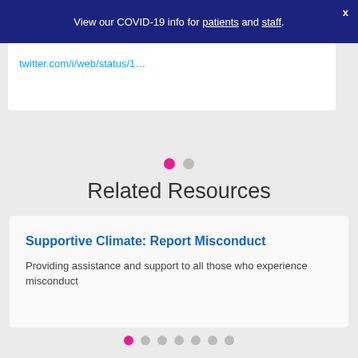View our COVID-19 info for patients and staff.
twitter.com/i/web/status/1…
Related Resources
Supportive Climate: Report Misconduct
Providing assistance and support to all those who experience misconduct